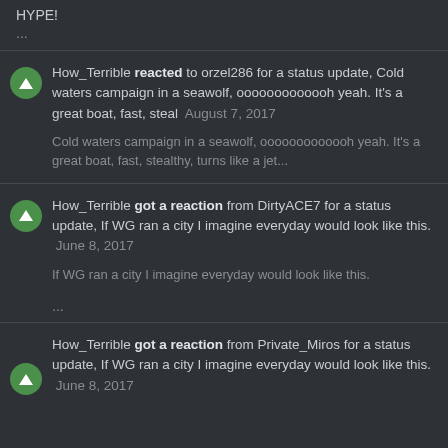HYPE!
...
How_Terrible reacted to orzel286 for a status update, Cold waters campaign in a seawolf, ooooooooooooh yeah. It's a great boat, fast, steal  August 7, 2017
Cold waters campaign in a seawolf, ooooooooooooh yeah. It's a great boat, fast, stealthy, turns like a jet...
How_Terrible got a reaction from DirtyACE7 for a status update, If WG ran a city I imagine everyday would look like this.  June 8, 2017
If WG ran a city I imagine everyday would look like this.
...
How_Terrible got a reaction from Private_Miros for a status update, If WG ran a city I imagine everyday would look like this.  June 8, 2017